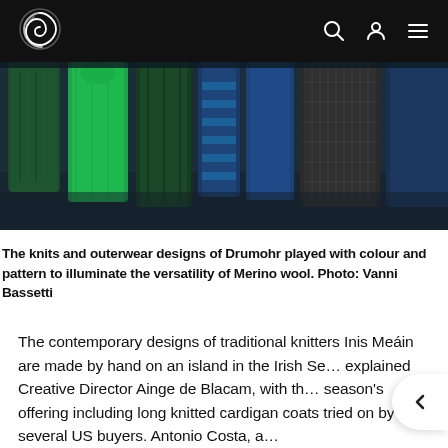Navigation bar with logo, search, account, and menu icons
[Figure (photo): Row of knit and outerwear garments hanging on a rack, predominantly green and blue tones, dark moody background]
The knits and outerwear designs of Drumohr played with colour and pattern to illuminate the versatility of Merino wool. Photo: Vanni Bassetti
The contemporary designs of traditional knitters Inis Meáin are made by hand on an island in the Irish Se… explained Creative Director Ainge de Blacam, with the season's offering including long knitted cardigan coats tried on by several US buyers. Antonio Costa, a…